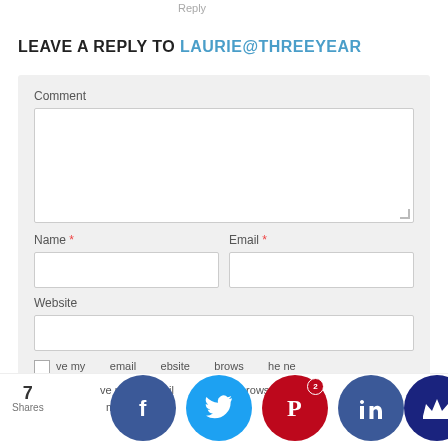Reply
LEAVE A REPLY TO LAURIE@THREEYEAR
[Figure (screenshot): Web comment form with fields for Comment (large textarea), Name*, Email*, Website, and a checkbox. Below is a social sharing bar with 7 Shares and social media icons for Facebook, Twitter, Pinterest, LinkedIn, and a crown icon.]